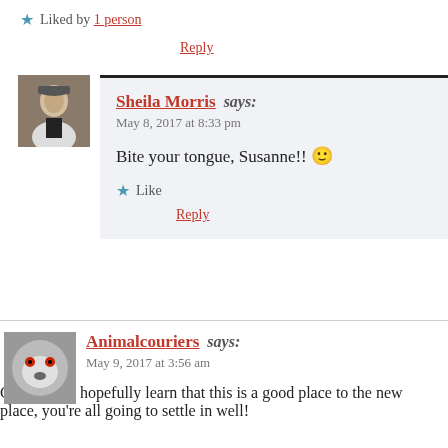★ Liked by 1 person
Reply
Sheila Morris says: May 8, 2017 at 8:33 pm
Bite your tongue, Susanne!! 🙂
Like
Reply
Animalcouriers says: May 9, 2017 at 3:56 am
Charlie will hopefully learn that this is a good place to the new place, you're all going to settle in well!